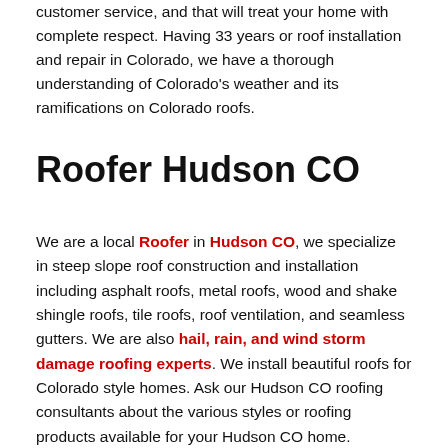customer service, and that will treat your home with complete respect. Having 33 years or roof installation and repair in Colorado, we have a thorough understanding of Colorado's weather and its ramifications on Colorado roofs.
Roofer Hudson CO
We are a local Roofer in Hudson CO, we specialize in steep slope roof construction and installation including asphalt roofs, metal roofs, wood and shake shingle roofs, tile roofs, roof ventilation, and seamless gutters. We are also hail, rain, and wind storm damage roofing experts. We install beautiful roofs for Colorado style homes. Ask our Hudson CO roofing consultants about the various styles or roofing products available for your Hudson CO home.